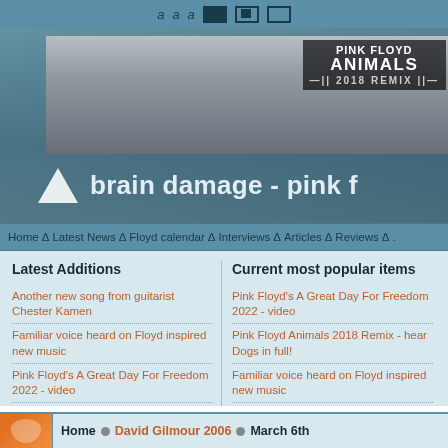a  a  a  [toolbar icons]
[Figure (screenshot): Pink Floyd Animals 2018 Remix banner image with industrial/factory background in black and white, with logo overlay text reading PINK FLOYD ANIMALS 2018 REMIX, and site title 'brain damage - pink f' with triangle logo]
Home Δ Latest News Δ Floyd calendar Δ Interviews Δ Articles Δ Reviews Δ .
Latest Additions
Current most popular items
Another new song from guitarist Chester Kamen
Pink Floyd's A Great Day For Freedom 2022 - video
Familiar voice heard on Floyd inspired new music
Pink Floyd Animals 2018 Remix - hear Dogs in full!
Pink Floyd's A Great Day For Freedom 2022 - video
Familiar voice heard on Floyd inspired new music
Pink Floyd's A Great Day For Freedom 2022
Pink Floyd's A Great Day For Freedom 2022
Pink Floyd Animals 2018 Remix - hear Dogs in full!
Another new song from guitarist Chester Kamen
Home  •  David Gilmour 2006  •  March 6th